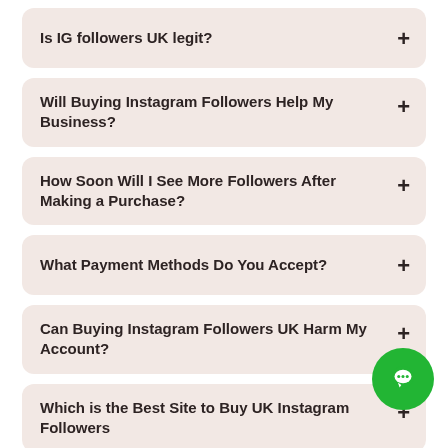Is IG followers UK legit?
Will Buying Instagram Followers Help My Business?
How Soon Will I See More Followers After Making a Purchase?
What Payment Methods Do You Accept?
Can Buying Instagram Followers UK Harm My Account?
Which is the Best Site to Buy UK Instagram Followers
(partial item cut off at bottom)